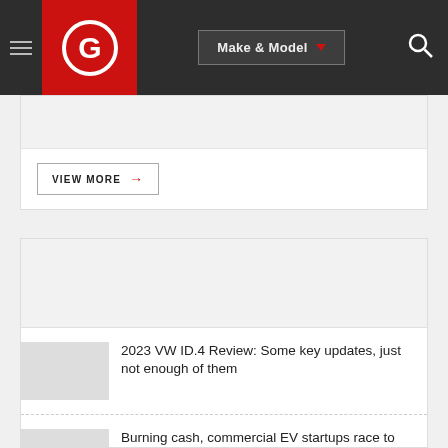Autoblog navigation with Make & Model selector and search
VIEW MORE →
[Figure (screenshot): Gray banner/advertisement area]
2023 VW ID.4 Review: Some key updates, just not enough of them
Burning cash, commercial EV startups race to deliver vehicles
'The Sacrifice Zone': Myanmar bears cost of